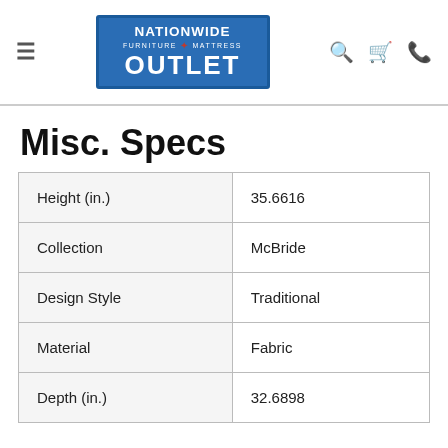Nationwide Furniture & Mattress Outlet
Misc. Specs
|  |  |
| --- | --- |
| Height (in.) | 35.6616 |
| Collection | McBride |
| Design Style | Traditional |
| Material | Fabric |
| Depth (in.) | 32.6898 |